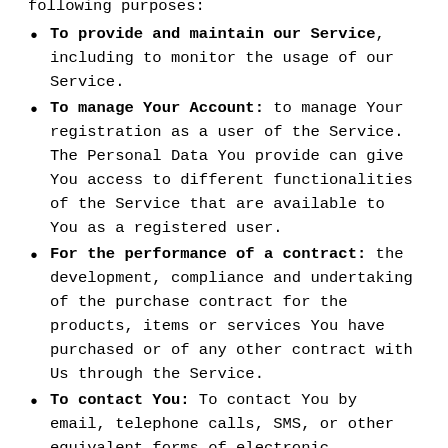following purposes:
To provide and maintain our Service, including to monitor the usage of our Service.
To manage Your Account: to manage Your registration as a user of the Service. The Personal Data You provide can give You access to different functionalities of the Service that are available to You as a registered user.
For the performance of a contract: the development, compliance and undertaking of the purchase contract for the products, items or services You have purchased or of any other contract with Us through the Service.
To contact You: To contact You by email, telephone calls, SMS, or other equivalent forms of electronic communication, such as a